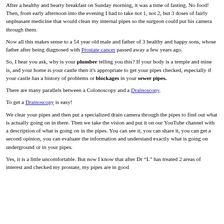After a healthy and hearty breakfast on Sunday morning, it was a time of fasting. No food! Then, from early afternoon into the evening I had to take not 1, not 2, but 3 doses of fairly unpleasant medicine that would clean my internal pipes so the surgeon could put his camera through them.
Now all this makes sense to a 54 year old male and father of 3 healthy and happy sons, whose father after being diagnosed with Prostate cancer passed away a few years ago.
So, I hear you ask, why is your plumber telling you this? If your body is a temple and mine is, and your home is your castle then it's appropriate to get your pipes checked, especially if your castle has a history of problems or blockages in your sewer pipes.
There are many parallels between a Colonoscopy and a Drainoscopy.
To get a Drainoscopy is easy!
We clear your pipes and then put a specialized drain camera through the pipes to find out what is actually going on in there. Then we take the vision and put it on our YouTube channel with a description of what is going on in the pipes. You can see it, you can share it, you can get a second opinion, you can evaluate the information and understand exactly what is going on underground or in your pipes.
Yes, it is a little uncomfortable. But now I know that after Dr “L” has treated 2 areas of interest and checked my prostate, my pipes are in good